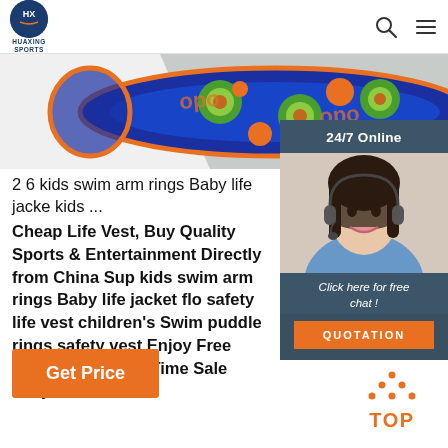HUAXING SPORTS
[Figure (photo): Colorful swim arm ring / floatie product on blue background with avocado/orange pattern and 'opo' text]
[Figure (photo): 24/7 Online chat widget with a female customer service representative wearing a headset, smiling, with 'Click here for free chat!' text and QUOTATION button]
2 6 kids swim arm rings Baby life jacke kids ...
Cheap Life Vest, Buy Quality Sports & Entertainment Directly from China Sup kids swim arm rings Baby life jacket flo safety life vest children's Swim puddle rings safety vest Enjoy Free Shipping Limited Time Sale Easy Return.
Get Price
[Figure (illustration): Orange dotted triangle 'TOP' scroll-to-top button]